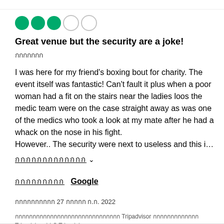[Figure (other): 3 out of 5 filled green circles star rating]
Great venue but the security are a joke!
กกกกกกก
I was here for my friend's boxing bout for charity. The event itself was fantastic! Can't fault it plus when a poor woman had a fit on the stairs near the ladies loos the medic team were on the case straight away as was one of the medics who took a look at my mate after he had a whack on the nose in his fight.
However.. The security were next to useless and this i…
กกกกกกกกกกกกก ∨
กกกกกกกกก Google
กกกกกกกกกก 27 กกกกก ก.ก. 2022
กกกกกกกกกกกกกกกกกกกกกกกกกกกกกก Tripadvisor กกกกกกกกกกกกก Tripadvisor LLC Tripadvisor กกกกกกกกกกกกกกกกก